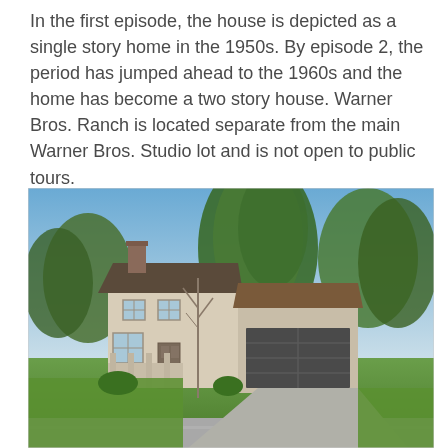In the first episode, the house is depicted as a single story home in the 1950s. By episode 2, the period has jumped ahead to the 1960s and the home has become a two story house. Warner Bros. Ranch is located separate from the main Warner Bros. Studio lot and is not open to public tours.
[Figure (photo): Exterior photograph of a two-story suburban house with a chimney, multiple windows, green lawn, large pine/evergreen trees in the background, and a two-car garage with a concrete driveway. Blue sky visible above the trees. The setting appears to be a studio backlot neighborhood.]